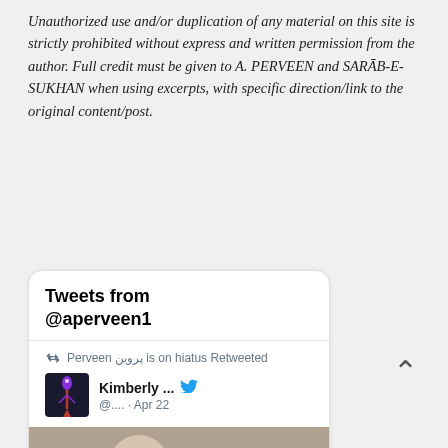Unauthorized use and/or duplication of any material on this site is strictly prohibited without express and written permission from the author. Full credit must be given to A. PERVEEN and SARĀB-E-SUKHAN when using excerpts, with specific direction/link to the original content/post.
[Figure (screenshot): Twitter/X widget showing 'Tweets from @aperveen1' with a retweet by Perveen پروین is on hiatus, retweeting Kimberly ... @.... Apr 22, with a book image below showing 'THAT TIME I GOT']